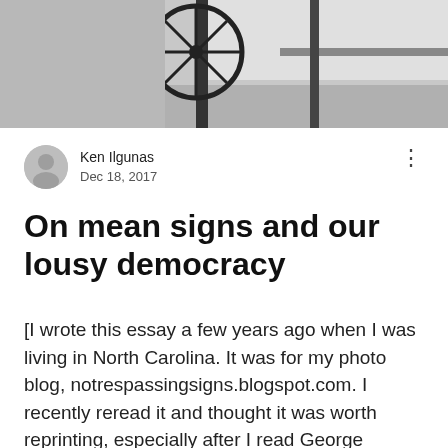[Figure (photo): Black and white photograph showing a wagon wheel or bicycle wheel and vertical poles/posts, cropped at top of page]
Ken Ilgunas
Dec 18, 2017
On mean signs and our lousy democracy
[I wrote this essay a few years ago when I was living in North Carolina. It was for my photo blog, notrespassingsigns.blogspot.com. I recently reread it and thought it was worth reprinting, especially after I read George Monbiot's Out of the Wreckage, which helped me piece together a few disconnected thoughts. So here it is, refurbished, updated, and Trumpified.] A